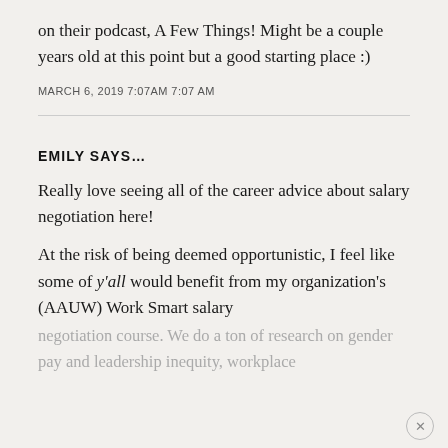on their podcast, A Few Things! Might be a couple years old at this point but a good starting place :)
MARCH 6, 2019 7:07AM 7:07 AM
EMILY SAYS...
Really love seeing all of the career advice about salary negotiation here!
At the risk of being deemed opportunistic, I feel like some of y'all would benefit from my organization's (AAUW) Work Smart salary negotiation course. We do a ton of research on gender pay and leadership inequity, workplace